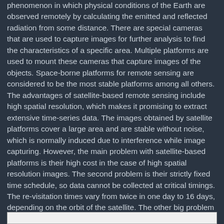phenomenon in which physical conditions of the Earth are observed remotely by calculating the emitted and reflected radiation from some distance. There are special cameras that are used to capture images for further analysis to find the characteristics of a specific area. Multiple platforms are used to mount these cameras that capture images of the objects. Space-borne platforms for remote sensing are considered to be the most stable platforms among all others.
The advantages of satellite-based remote sensing include high spatial resolution, which makes it promising to extract extensive time-series data. The images obtained by satellite platforms cover a large area and are stable without noise, which is normally induced due to interference while image capturing. However, the main problem with satellite-based platforms is their high cost in the case of high spatial resolution images. The second problem is their strictly fixed time schedule, so data cannot be collected at critical timings. The re-visitation times vary from twice in one day to 16 days, depending on the orbit of the satellite. The other big problem is that satellite platforms are highly sensitive to weather conditions, so if the weather is cloudy, the captured image will have less detailed information.
The table below shows the main types of satellites with their specifications